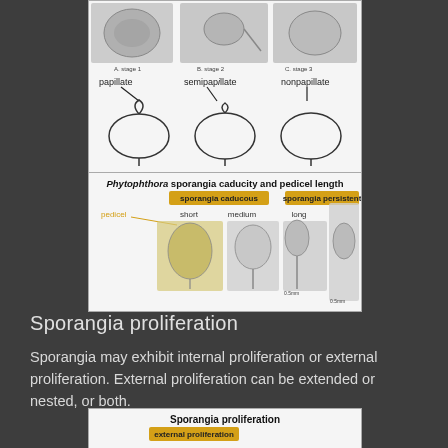[Figure (illustration): Scientific diagram showing Phytophthora sporangia types: papillate, semipapillate, and nonpapillate sporangia shown as microscope photos (top) and line drawings (bottom).]
[Figure (illustration): Scientific diagram titled 'Phytophthora sporangia caducity and pedicel length' showing sporangia caducous (short, medium, long pedicel) and sporangia persistent, with microscope photos.]
Sporangia proliferation
Sporangia may exhibit internal proliferation or external proliferation. External proliferation can be extended or nested, or both.
[Figure (illustration): Scientific diagram titled 'Sporangia proliferation' showing external proliferation types.]